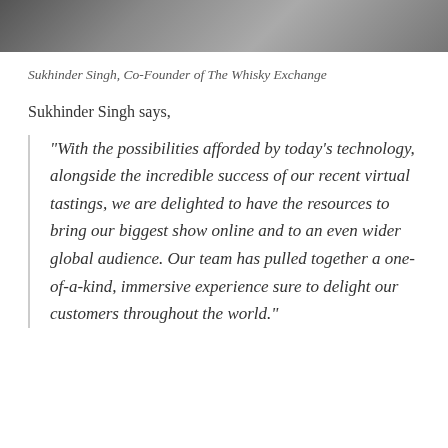[Figure (photo): Cropped photo of Sukhinder Singh at the top of the page]
Sukhinder Singh, Co-Founder of The Whisky Exchange
Sukhinder Singh says,
“With the possibilities afforded by today’s technology, alongside the incredible success of our recent virtual tastings, we are delighted to have the resources to bring our biggest show online and to an even wider global audience. Our team has pulled together a one-of-a-kind, immersive experience sure to delight our customers throughout the world.”